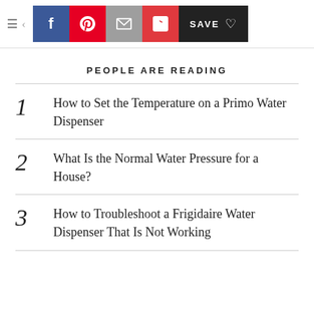Social sharing bar with Facebook, Pinterest, Email, Flipboard, and Save buttons
PEOPLE ARE READING
1. How to Set the Temperature on a Primo Water Dispenser
2. What Is the Normal Water Pressure for a House?
3. How to Troubleshoot a Frigidaire Water Dispenser That Is Not Working